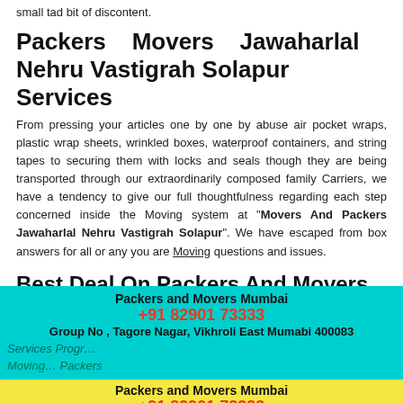small tad bit of discontent.
Packers Movers Jawaharlal Nehru Vastigrah Solapur Services
From pressing your articles one by one by abuse air pocket wraps, plastic wrap sheets, wrinkled boxes, waterproof containers, and string tapes to securing them with locks and seals though they are being transported through our extraordinarily composed family Carriers, we have a tendency to give our full thoughtfulness regarding each step concerned inside the Moving system at "Movers And Packers Jawaharlal Nehru Vastigrah Solapur". We have escaped from box answers for all or any you are Moving questions and issues.
Best Deal On Packers And Movers Services Progr…
Packers and Movers Mumbai
+91 82901 73333
Group No , Tagore Nagar, Vikhroli East Mumabi 400083
Moving… Packers And Movers Jawaharlal … Solapur…
Packers and Movers Mumbai
+91 82901 73333
Shop No, Sylvia Co. Oprative Home Socity, Sector 8, Airoli, Navi Mumbai 400708
to "Solapur" and round the … or Packers Jawaharlal Nehru Vastigrah Solapur city full target report on supply of revenue and